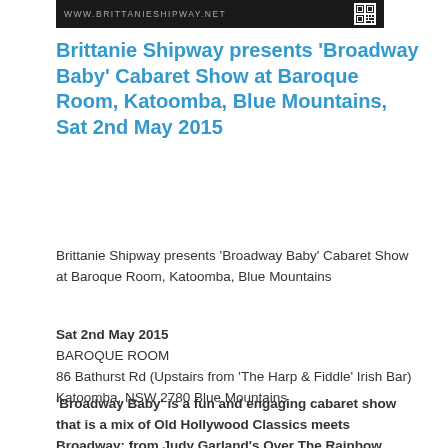[Figure (other): Dark banner with website URL www.brittanieshipway.net and a QR code on the right]
Brittanie Shipway presents ‘Broadway Baby’ Cabaret Show at Baroque Room, Katoomba, Blue Mountains, Sat 2nd May 2015
Brittanie Shipway presents ‘Broadway Baby’ Cabaret Show at Baroque Room, Katoomba, Blue Mountains
Sat 2nd May 2015
BAROQUE ROOM
86 Bathurst Rd (Upstairs from ‘The Harp & Fiddle’ Irish Bar)
Katoomba, NSW 2780 Blue Mountains
‘Broadway Baby’ is a fun and engaging cabaret show that is a mix of Old Hollywood Classics meets Broadway; from Judy Garland’s Over The Rainbow, Edith Piaf’s famous La Vie En Rose, to Shirley Bassey’s